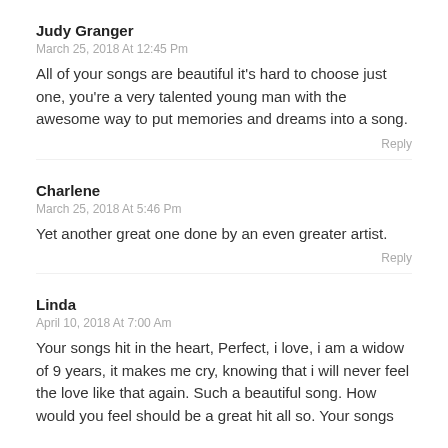Judy Granger
March 25, 2018 At 12:45 Pm
All of your songs are beautiful it's hard to choose just one, you're a very talented young man with the awesome way to put memories and dreams into a song.
Reply
Charlene
March 25, 2018 At 5:46 Pm
Yet another great one done by an even greater artist.
Reply
Linda
April 10, 2018 At 7:00 Am
Your songs hit in the heart, Perfect, i love, i am a widow of 9 years, it makes me cry, knowing that i will never feel the love like that again. Such a beautiful song. How would you feel should be a great hit all so. Your songs